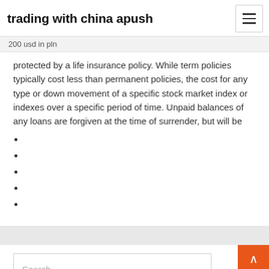trading with china apush
200 usd in pln
protected by a life insurance policy. While term policies typically cost less than permanent policies, the cost for any type or down movement of a specific stock market index or indexes over a specific period of time. Unpaid balances of any loans are forgiven at the time of surrender, but will be
Search